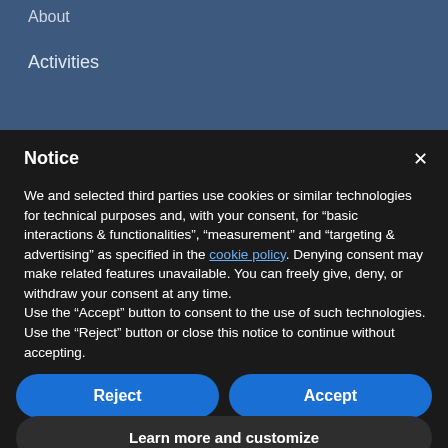About
Activities
Notice
We and selected third parties use cookies or similar technologies for technical purposes and, with your consent, for “basic interactions & functionalities”, “measurement” and “targeting & advertising” as specified in the cookie policy. Denying consent may make related features unavailable. You can freely give, deny, or withdraw your consent at any time.
Use the “Accept” button to consent to the use of such technologies. Use the “Reject” button or close this notice to continue without accepting.
Reject
Accept
Learn more and customize